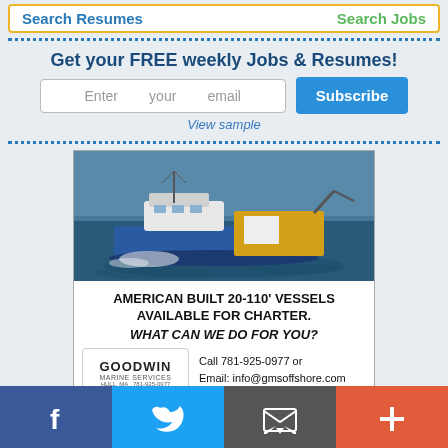Search Resumes   Search Jobs
Get your FREE weekly Jobs & Resumes!
Enter your email
Subscribe
View sample
[Figure (photo): A blue and yellow commercial vessel/boat sailing on open water, aerial view.]
AMERICAN BUILT 20-110' VESSELS AVAILABLE FOR CHARTER.
WHAT CAN WE DO FOR YOU?
Call 781-925-0977 or
Email: info@gmsoffshore.com
Website: www.gmsoffshore.com
[Figure (logo): Goodwin Marine Services logo - Hull, MA 781-925-0977]
[Figure (infographic): Social media bar with Facebook, Twitter, Email, and Plus icons]